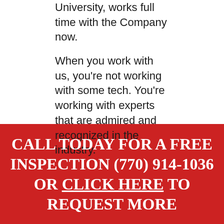University, works full time with the Company now.

When you work with us, you’re not working with some tech. You’re working with experts that are admired and recognized in the industry.
CALL TODAY FOR A FREE INSPECTION (770) 914-1036 OR CLICK HERE TO REQUEST MORE